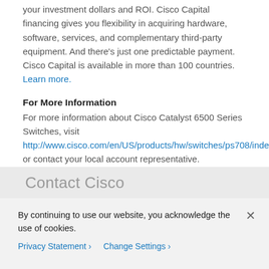your investment dollars and ROI. Cisco Capital financing gives you flexibility in acquiring hardware, software, services, and complementary third-party equipment. And there's just one predictable payment. Cisco Capital is available in more than 100 countries. Learn more.
For More Information
For more information about Cisco Catalyst 6500 Series Switches, visit http://www.cisco.com/en/US/products/hw/switches/ps708/index.html or contact your local account representative.
Contact Cisco
By continuing to use our website, you acknowledge the use of cookies.
Privacy Statement > Change Settings >